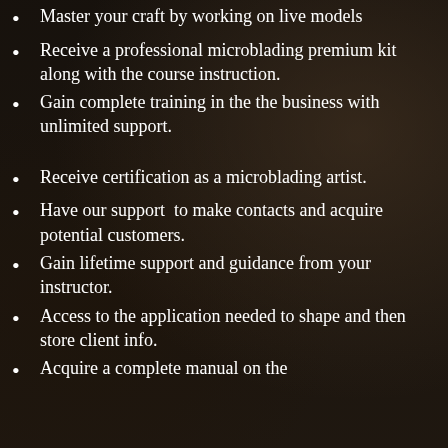Master your craft by working on live models
Receive a professional microblading premium kit along with the course instruction.
Gain complete training in the the business with unlimited support.
Receive certification as a microblading artist.
Have our support  to make contacts and acquire potential customers.
Gain lifetime support and guidance from your instructor.
Access to the application needed to shape and then store client info.
Acquire a complete manual on the